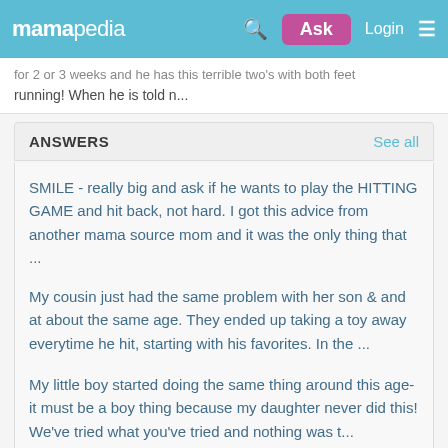mamapedia | Search | Ask | Login | Menu
for 2 or 3 weeks and he has this terrible two's with both feet running! When he is told n...
ANSWERS    See all
SMILE - really big and ask if he wants to play the HITTING GAME and hit back, not hard. I got this advice from another mama source mom and it was the only thing that ...
My cousin just had the same problem with her son & and at about the same age. They ended up taking a toy away everytime he hit, starting with his favorites. In the ...
My little boy started doing the same thing around this age-it must be a boy thing because my daughter never did this! We've tried what you've tried and nothing was t...